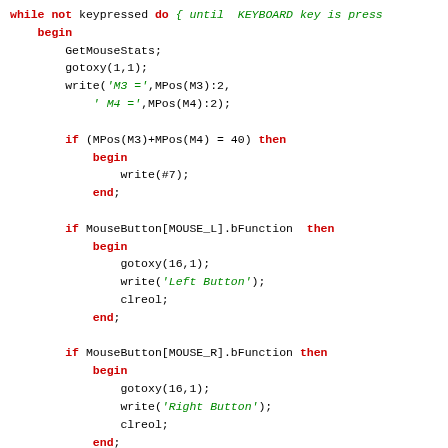[Figure (screenshot): Pascal source code snippet showing a while loop with mouse input handling, including GetMouseStats, gotoxy, write statements, and conditional checks for mouse buttons (MOUSE_L, MOUSE_R, MOUSE_M, MOUSE_L_R).]